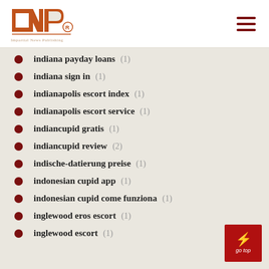INP logo and navigation
indiana payday loans (1)
indiana sign in (1)
indianapolis escort index (1)
indianapolis escort service (1)
indiancupid gratis (1)
indiancupid review (2)
indische-datierung preise (1)
indonesian cupid app (1)
indonesian cupid come funziona (1)
inglewood eros escort (1)
inglewood escort (1)